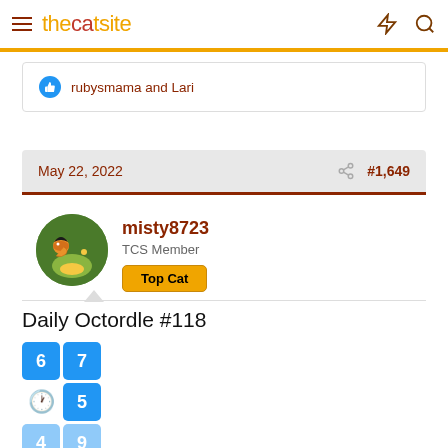thecatsite
rubysmama and Lari
May 22, 2022  #1,649
misty8723
TCS Member
Top Cat
Daily Octordle #118
6 7
🕐 5
4 9
6 5